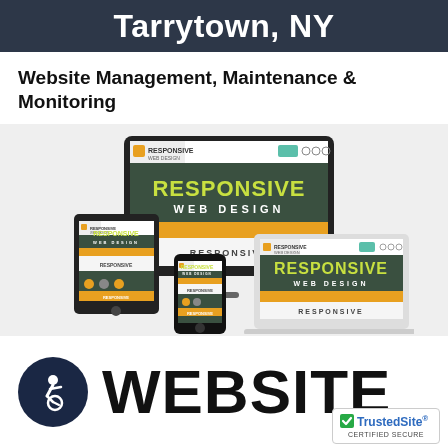Tarrytown, NY
Website Management, Maintenance & Monitoring
[Figure (illustration): Responsive web design illustration showing a desktop monitor, tablet, smartphone, and laptop all displaying the same 'Responsive Web Design' website with yellow/green text on dark background and orange banners]
WEBSITE
[Figure (logo): Accessibility icon showing a person in a wheelchair in white on dark navy circle background]
[Figure (logo): TrustedSite Certified Secure badge with green checkmark]